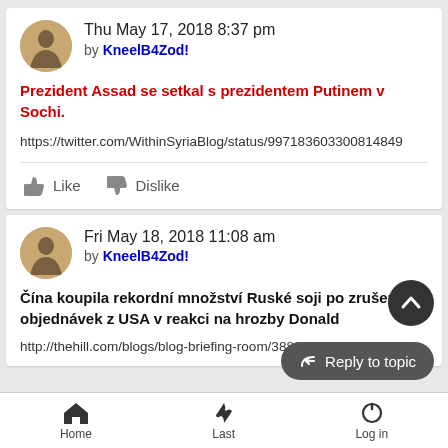Thu May 17, 2018 8:37 pm by KneelB4Zod!
Prezident Assad se setkal s prezidentem Putinem v Sochi.
https://twitter.com/WithinSyriaBlog/status/997183603300814849
Like  Dislike
Fri May 18, 2018 11:08 am by KneelB4Zod!
Čína koupila rekordní množství Ruské soji po zrušení objednávek z USA v reakci na hrozby Donald
http://thehill.com/blogs/blog-briefing-room/388178-china-buys-
Reply to topic
Home  Last  Log in